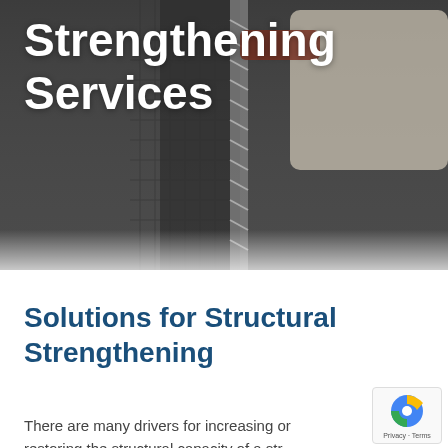[Figure (photo): Close-up photo of a gloved hand applying or pressing a carbon fiber reinforcement material (dark mesh/weave) against a surface, with a metal tool or roller visible. Image is grayscale/desaturated with dark overlay tones.]
Strengthening Services
Solutions for Structural Strengthening
There are many drivers for increasing or restoring the structural capacity of a str...